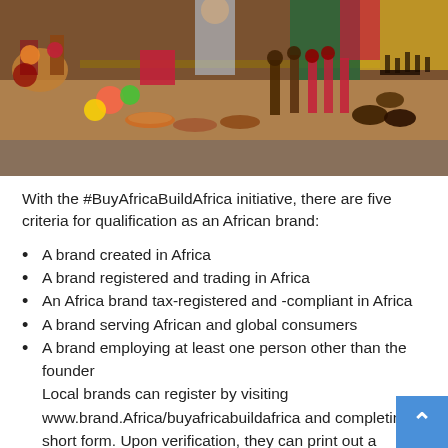[Figure (photo): Aerial/overhead view of a busy African market stall showing colorful handcrafted goods including beaded items, wooden figurines, decorative plates, pottery, and various artifacts spread on tables. A person in a blue/pink shirt is visible in the background.]
With the #BuyAfricaBuildAfrica initiative, there are five criteria for qualification as an African brand:
A brand created in Africa
A brand registered and trading in Africa
An Africa brand tax-registered and -compliant in Africa
A brand serving African and global consumers
A brand employing at least one person other than the founder
Local brands can register by visiting www.brand.Africa/buyafricabuildafrica and completing a short form. Upon verification, they can print out a